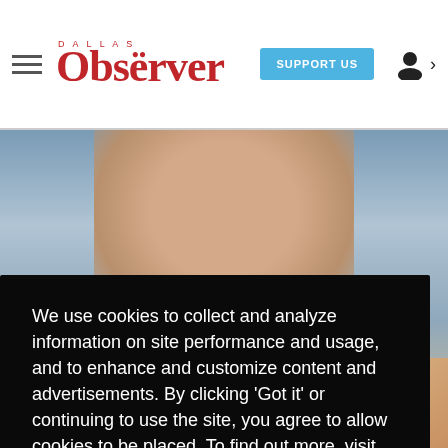Dallas Observer — SUPPORT US
[Figure (photo): Close-up photo of a man's face, blurred background]
We use cookies to collect and analyze information on site performance and usage, and to enhance and customize content and advertisements. By clicking 'Got it' or continuing to use the site, you agree to allow cookies to be placed. To find out more, visit our cookies policy and our privacy policy.
Got it!